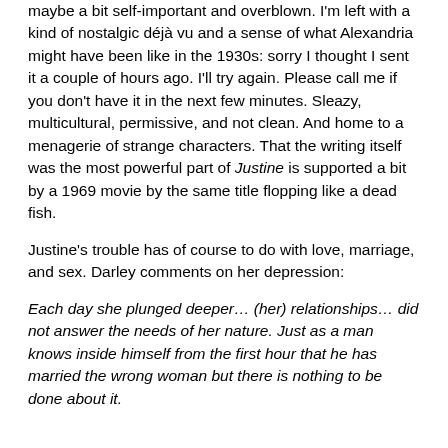maybe a bit self-important and overblown. I'm left with a kind of nostalgic déjà vu and a sense of what Alexandria might have been like in the 1930s: sorry I thought I sent it a couple of hours ago. I'll try again. Please call me if you don't have it in the next few minutes. Sleazy, multicultural, permissive, and not clean. And home to a menagerie of strange characters. That the writing itself was the most powerful part of Justine is supported a bit by a 1969 movie by the same title flopping like a dead fish.
Justine's trouble has of course to do with love, marriage, and sex. Darley comments on her depression:
Each day she plunged deeper… (her) relationships… did not answer the needs of her nature. Just as a man knows inside himself from the first hour that he has married the wrong woman but there is nothing to be done about it.